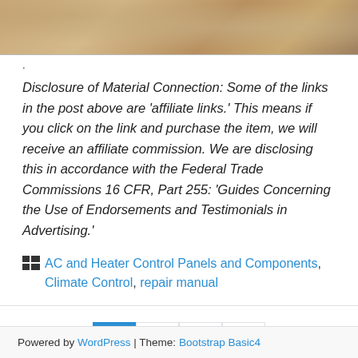[Figure (photo): Close-up photo of a sandy or metallic textured surface, brownish-gold in color]
.
Disclosure of Material Connection: Some of the links in the post above are ‘affiliate links.’ This means if you click on the link and purchase the item, we will receive an affiliate commission. We are disclosing this in accordance with the Federal Trade Commissions 16 CFR, Part 255: ‘Guides Concerning the Use of Endorsements and Testimonials in Advertising.’
AC and Heater Control Panels and Components, Climate Control, repair manual
1 2 3 »
Powered by WordPress | Theme: Bootstrap Basic4